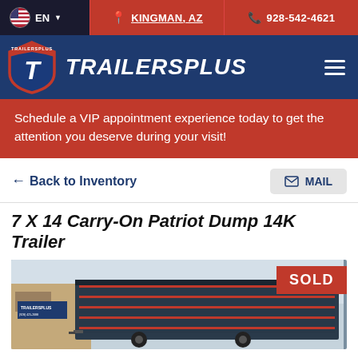EN | KINGMAN, AZ | 928-542-4621
[Figure (logo): TrailersPlus logo with shield and T emblem]
Schedule a VIP appointment experience today to get the attention you deserve during your visit!
← Back to Inventory
MAIL
7 X 14 Carry-On Patriot Dump 14K Trailer
[Figure (photo): Photo of a 7x14 Carry-On Patriot Dump 14K Trailer with SOLD badge overlay. Dark blue metal dump trailer parked in front of a TrailersPlus dealership.]